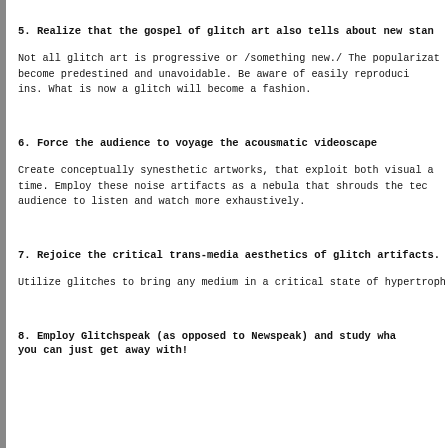5. Realize that the gospel of glitch art also tells about new stan
Not all glitch art is progressive or /something new./ The popularizat become predestined and unavoidable. Be aware of easily reproduci ins. What is now a glitch will become a fashion.
6. Force the audience to voyage the acousmatic videoscape
Create conceptually synesthetic artworks, that exploit both visual a time. Employ these noise artifacts as a nebula that shrouds the tec audience to listen and watch more exhaustively.
7. Rejoice the critical trans-media aesthetics of glitch artifacts.
Utilize glitches to bring any medium in a critical state of hypertroph
8. Employ Glitchspeak (as opposed to Newspeak) and study wha you can just get away with!